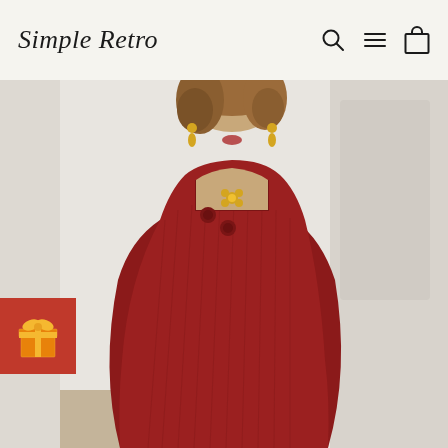Simple Retro
[Figure (photo): A model wearing a deep red/burgundy ribbed knit long-sleeve square-neck midi dress with decorative buttons along the neckline, wearing gold drop earrings and a gold flower necklace, photographed in a white interior setting.]
[Figure (illustration): Orange gift box icon on a red square background badge, positioned at the left side of the product image.]